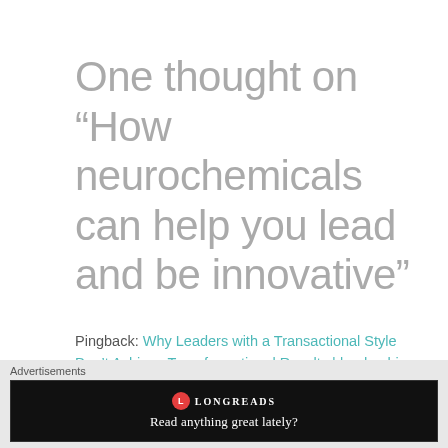One thought on “How neurochemicals can help you lead and be innovative”
Pingback: Why Leaders with a Transactional Style Don’t Achieve Transformational Results | leadership as a practice
Comments are closed.
Advertisements
[Figure (other): Longreads advertisement banner with logo and tagline 'Read anything great lately?']